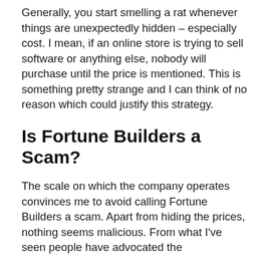Generally, you start smelling a rat whenever things are unexpectedly hidden – especially cost. I mean, if an online store is trying to sell software or anything else, nobody will purchase until the price is mentioned. This is something pretty strange and I can think of no reason which could justify this strategy.
Is Fortune Builders a Scam?
The scale on which the company operates convinces me to avoid calling Fortune Builders a scam. Apart from hiding the prices, nothing seems malicious. From what I've seen people have advocated the